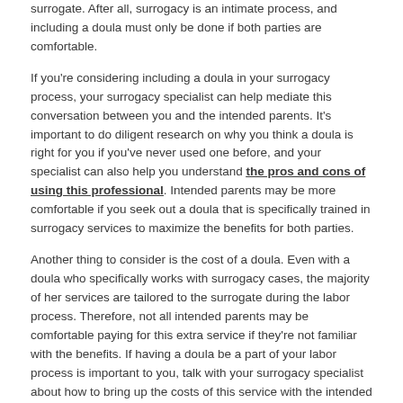surrogate. After all, surrogacy is an intimate process, and including a doula must only be done if both parties are comfortable.
If you're considering including a doula in your surrogacy process, your surrogacy specialist can help mediate this conversation between you and the intended parents. It's important to do diligent research on why you think a doula is right for you if you've never used one before, and your specialist can also help you understand the pros and cons of using this professional. Intended parents may be more comfortable if you seek out a doula that is specifically trained in surrogacy services to maximize the benefits for both parties.
Another thing to consider is the cost of a doula. Even with a doula who specifically works with surrogacy cases, the majority of her services are tailored to the surrogate during the labor process. Therefore, not all intended parents may be comfortable paying for this extra service if they're not familiar with the benefits. If having a doula be a part of your labor process is important to you, talk with your surrogacy specialist about how to bring up the costs of this service with the intended parents.